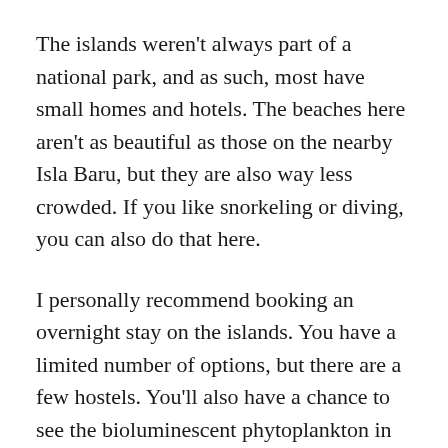The islands weren't always part of a national park, and as such, most have small homes and hotels. The beaches here aren't as beautiful as those on the nearby Isla Baru, but they are also way less crowded. If you like snorkeling or diving, you can also do that here.
I personally recommend booking an overnight stay on the islands. You have a limited number of options, but there are a few hostels. You'll also have a chance to see the bioluminescent phytoplankton in the lagoon, or you can book a tour of the mangroves.